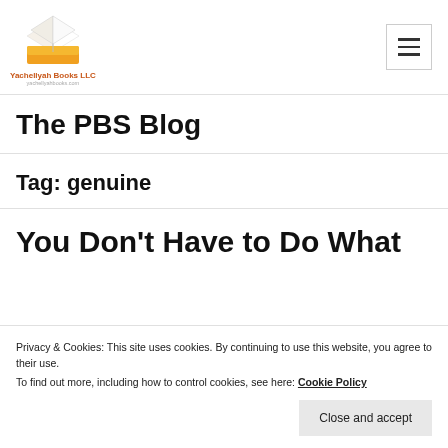[Figure (logo): Yachellyah Books LLC logo with open book and orange/yellow design, with text 'Yachellyah Books LLC' below]
The PBS Blog
Tag: genuine
You Don't Have to Do What
Privacy & Cookies: This site uses cookies. By continuing to use this website, you agree to their use.
To find out more, including how to control cookies, see here: Cookie Policy
Close and accept